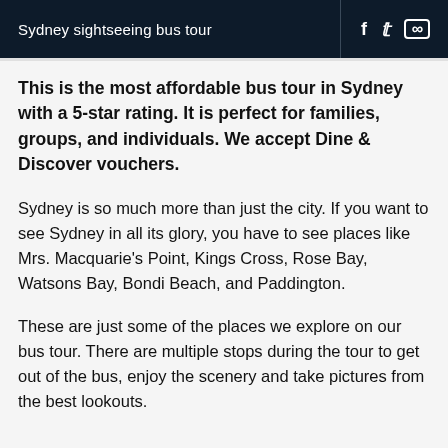Sydney sightseeing bus tour
This is the most affordable bus tour in Sydney with a 5-star rating. It is perfect for families, groups, and individuals. We accept Dine & Discover vouchers.
Sydney is so much more than just the city. If you want to see Sydney in all its glory, you have to see places like Mrs. Macquarie's Point, Kings Cross, Rose Bay, Watsons Bay, Bondi Beach, and Paddington.
These are just some of the places we explore on our bus tour. There are multiple stops during the tour to get out of the bus, enjoy the scenery and take pictures from the best lookouts.